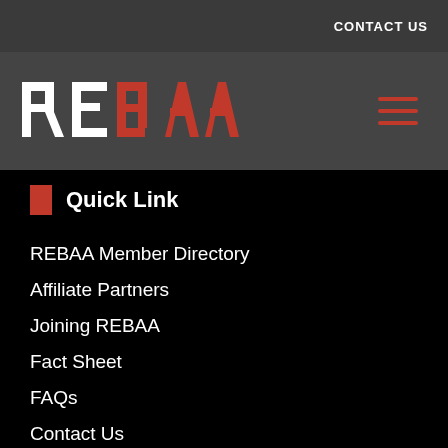CONTACT US
[Figure (logo): REBAA logo with red and white letters on dark grey background, plus hamburger menu icon]
Quick Link
REBAA Member Directory
Affiliate Partners
Joining REBAA
Fact Sheet
FAQs
Contact Us
Sitemap